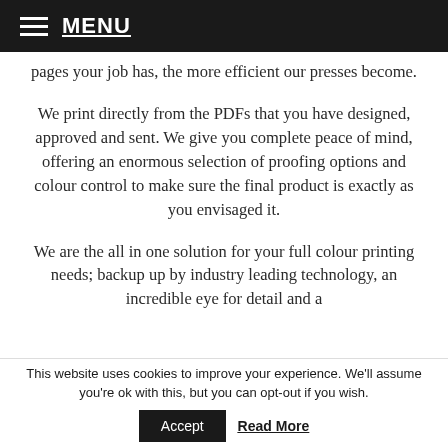MENU
pages your job has, the more efficient our presses become.
We print directly from the PDFs that you have designed, approved and sent. We give you complete peace of mind, offering an enormous selection of proofing options and colour control to make sure the final product is exactly as you envisaged it.
We are the all in one solution for your full colour printing needs; backup up by industry leading technology, an incredible eye for detail and a
This website uses cookies to improve your experience. We'll assume you're ok with this, but you can opt-out if you wish.